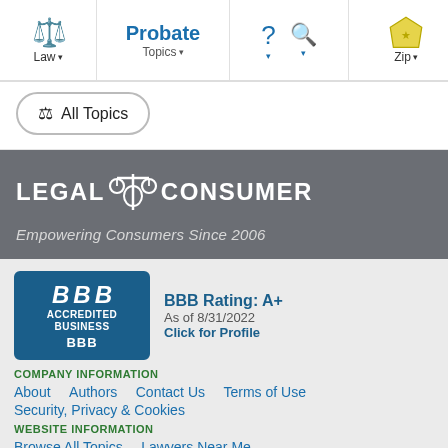Law | Probate Topics | ? | Search | Zip
⚖ All Topics
[Figure (logo): LEGAL CONSUMER logo with scales of justice icon, white text on dark gray background. Tagline: Empowering Consumers Since 2006]
[Figure (logo): BBB Accredited Business badge – dark teal/blue background, BBB logo, Accredited Business text]
BBB Rating: A+
As of 8/31/2022
Click for Profile
COMPANY INFORMATION
About   Authors   Contact Us   Terms of Use
Security, Privacy & Cookies
WEBSITE INFORMATION
Browse All Topics   Lawyers Near Me
50-State Voter Registration